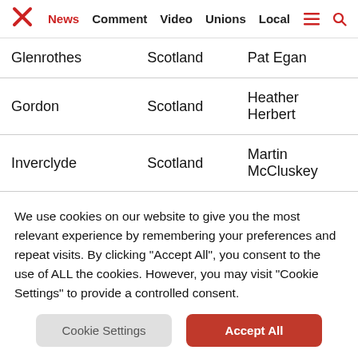News | Comment | Video | Unions | Local
| Glenrothes | Scotland | Pat Egan |
| Gordon | Scotland | Heather Herbert |
| Inverclyde | Scotland | Martin McCluskey |
| Inverness, Nairn, | Scotland | Lewis Whyte |
We use cookies on our website to give you the most relevant experience by remembering your preferences and repeat visits. By clicking "Accept All", you consent to the use of ALL the cookies. However, you may visit "Cookie Settings" to provide a controlled consent.